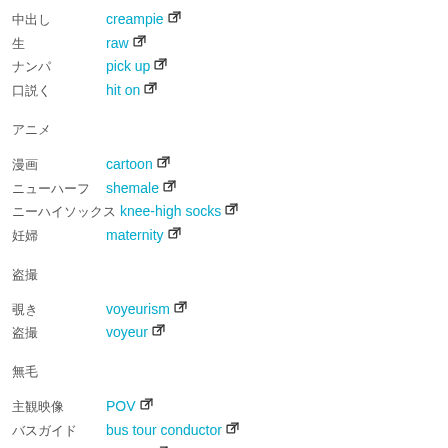中出し  creampie ↗
生  raw ↗
ナンパ  pick up ↗
口説く  hit on ↗
アニメ
漫画  cartoon ↗
ニューハーフ  shemale ↗
ニーハイソックス  knee-high socks ↗
妊婦  maternity ↗
盗撮
覗き  voyeurism ↗
盗撮  voyeur ↗
無毛
主観映像  POV ↗
バスガイド  bus tour conductor ↗
無毛  shaved ↗